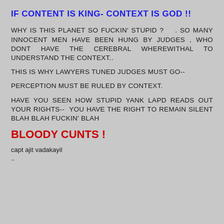IF CONTENT IS KING- CONTEXT IS GOD !!
WHY IS THIS PLANET SO FUCKIN' STUPID ?    . SO MANY INNOCENT MEN HAVE BEEN HUNG BY JUDGES , WHO DONT HAVE THE CEREBRAL WHEREWITHAL TO UNDERSTAND THE CONTEXT..
THIS IS WHY LAWYERS TUNED JUDGES MUST GO--
PERCEPTION MUST BE RULED BY CONTEXT.
HAVE YOU SEEN HOW STUPID YANK LAPD READS OUT YOUR RIGHTS--  YOU HAVE THE RIGHT TO REMAIN SILENT BLAH BLAH FUCKIN' BLAH
BLOODY CUNTS !
capt ajit vadakayil
..